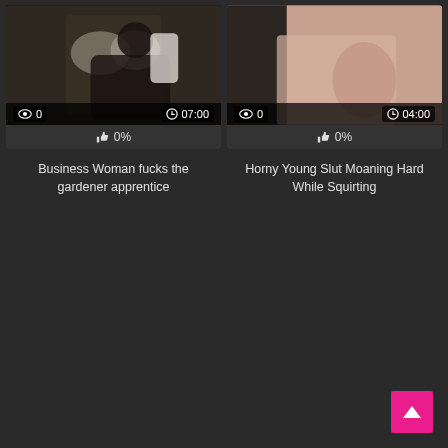[Figure (screenshot): Video thumbnail for 'Business Woman fucks the gardener apprentice' showing a woman on a couch, with view count 0 and duration 07:00, 0% rating bar]
Business Woman fucks the gardener apprentice
[Figure (screenshot): Video thumbnail for 'Horny Young Slut Moaning Hard While Squirting' with view count 0 and duration 04:00, 0% rating bar]
Horny Young Slut Moaning Hard While Squirting